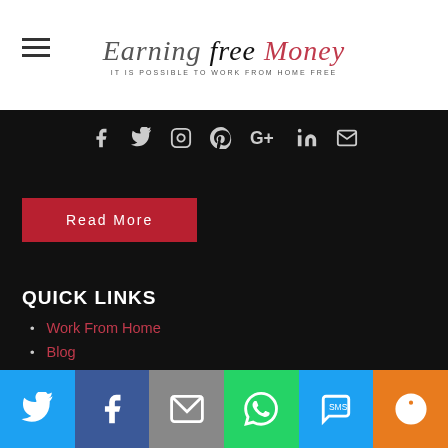Earning Free Money — IT IS POSSIBLE TO WORK FROM HOME FREE
[Figure (logo): Earning Free Money blog logo with hamburger menu icon on left, stylized script text 'Earning Free Money' and tagline 'IT IS POSSIBLE TO WORK FROM HOME FREE']
[Figure (infographic): Social media icons bar: Facebook, Twitter, Instagram, Pinterest, Google+, LinkedIn, Email — white icons on black background]
Read More
QUICK LINKS
Work From Home
Blog
Paid Product Testing
Freebies
Blogging
Helpful Tips
Coupons
International
[Figure (infographic): Bottom share bar with 6 buttons: Twitter (blue), Facebook (dark blue), Email (gray), WhatsApp (green), SMS (blue), More (orange) — each with white icon]